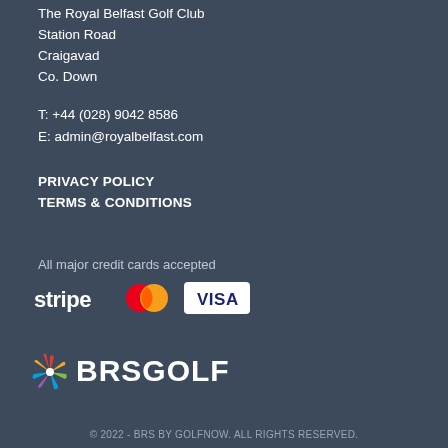The Royal Belfast Golf Club
Station Road
Craigavad
Co. Down
T: +44 (028) 9042 8586
E: admin@royalbelfast.com
PRIVACY POLICY
TERMS & CONDITIONS
All major credit cards accepted
[Figure (logo): Payment logos: Stripe, Mastercard, Visa]
[Figure (logo): BRS Golf logo with NBC peacock icon]
© 2022 - BRS BY GOLFNOW. ALL RIGHTS RESERVED.